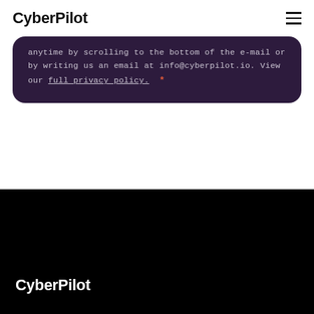CyberPilot
anytime by scrolling to the bottom of the e-mail or by writing us an email at info@cyberpilot.io. View our full privacy policy. *
CyberPilot